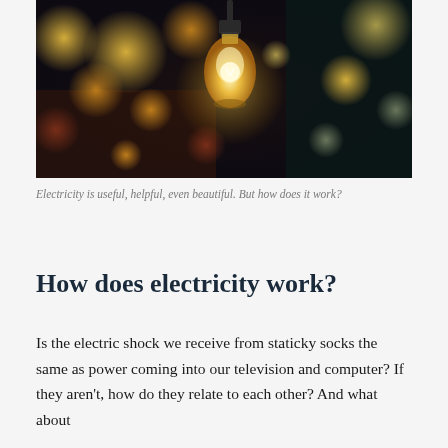[Figure (photo): A photograph of a glowing incandescent light bulb hanging from a cord, with blurred bokeh lights in warm golden and orange tones in the background against a dark background.]
Electricity is useful, helpful, even beautiful. But how does it work?
How does electricity work?
Is the electric shock we receive from staticky socks the same as power coming into our television and computer? If they aren't, how do they relate to each other? And what about